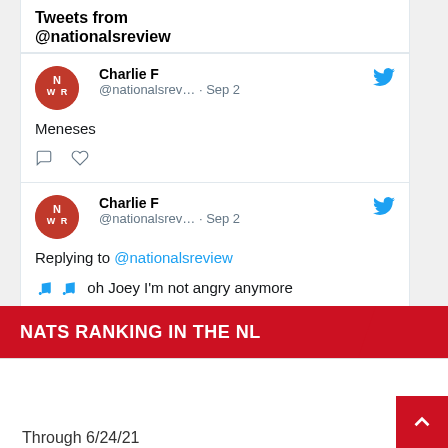Tweets from @nationalsreview
Charlie F @nationalsrev… · Sep 2
Meneses
Charlie F @nationalsrev… · Sep 2
Replying to @nationalsreview
🎵🎵 oh Joey I'm not angry anymore
NATS RANKING IN THE NL
Through 6/24/21